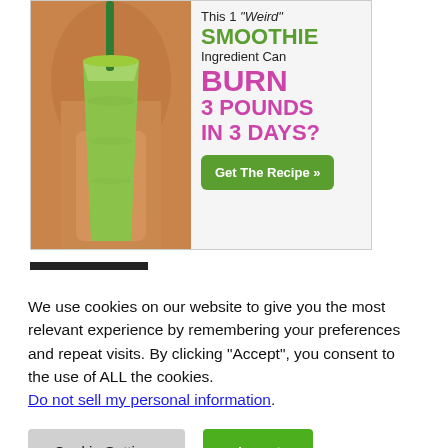[Figure (illustration): Advertisement banner showing a green smoothie held by a person, with text: This 1 'Weird' SMOOTHIE Ingredient Can BURN 3 POUNDS IN 3 DAYS? Get The Recipe »]
We use cookies on our website to give you the most relevant experience by remembering your preferences and repeat visits. By clicking “Accept”, you consent to the use of ALL the cookies. Do not sell my personal information.